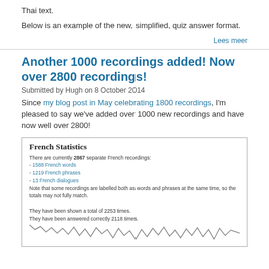Thai text.
Below is an example of the new, simplified, quiz answer format.
Lees meer
Another 1000 recordings added! Now over 2800 recordings!
Submitted by Hugh on 8 October 2014
Since my blog post in May celebrating 1800 recordings, I'm pleased to say we've added over 1000 new recordings and have now well over 2800!
French Statistics
There are currently 2867 separate French recordings:
- 1588 French words
- 1219 French phrases
- 13 French dialogues
Note that some recordings are labelled both as words and phrases at the same time, so the totals may not fully match.

They have been shown a total of 2253 times.
They have been answered correctly 2118 times.